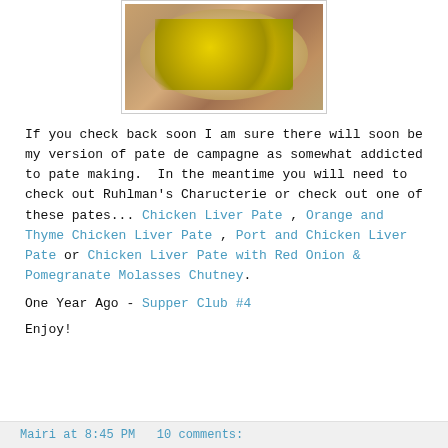[Figure (photo): Photo of food items (stuffed or topped appetizers) on a plate, viewed from above, on a wooden surface]
If you check back soon I am sure there will soon be my version of pate de campagne as somewhat addicted to pate making.  In the meantime you will need to check out Ruhlman's Charucterie or check out one of these pates... Chicken Liver Pate , Orange and Thyme Chicken Liver Pate , Port and Chicken Liver Pate or Chicken Liver Pate with Red Onion & Pomegranate Molasses Chutney.
One Year Ago - Supper Club #4
Enjoy!
Mairi at 8:45 PM   10 comments: